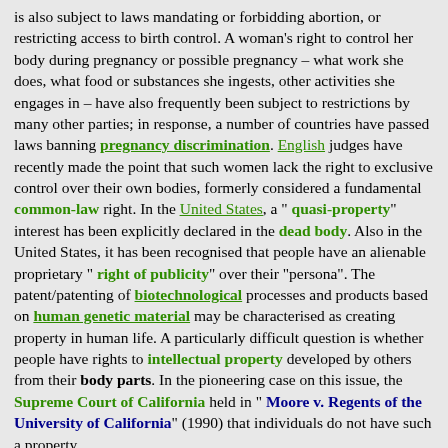is also subject to laws mandating or forbidding abortion, or restricting access to birth control. A woman's right to control her body during pregnancy or possible pregnancy – what work she does, what food or substances she ingests, other activities she engages in – have also frequently been subject to restrictions by many other parties; in response, a number of countries have passed laws banning pregnancy discrimination. English judges have recently made the point that such women lack the right to exclusive control over their own bodies, formerly considered a fundamental common-law right. In the United States, a " quasi-property" interest has been explicitly declared in the dead body. Also in the United States, it has been recognised that people have an alienable proprietary " right of publicity" over their "persona". The patent/patenting of biotechnological processes and products based on human genetic material may be characterised as creating property in human life. A particularly difficult question is whether people have rights to intellectual property developed by others from their body parts. In the pioneering case on this issue, the Supreme Court of California held in " Moore v. Regents of the University of California" (1990) that individuals do not have such a property